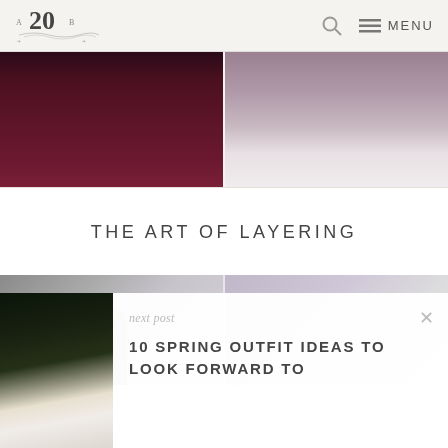A 20 B — MENU (navigation header)
[Figure (photo): Two-panel photo strip showing dark maroon/burgundy skinny pants — left panel shows front view, right panel shows side view against white background]
THE ART OF LAYERING
[Figure (photo): Two-panel photo strip showing a woman taking a mirror selfie with a camera, against a decorative grey wallpaper background]
[Figure (photo): Thumbnail image of a woman in a white lace dress with a brown belt, standing outdoors]
next post
10 SPRING OUTFIT IDEAS TO LOOK FORWARD TO